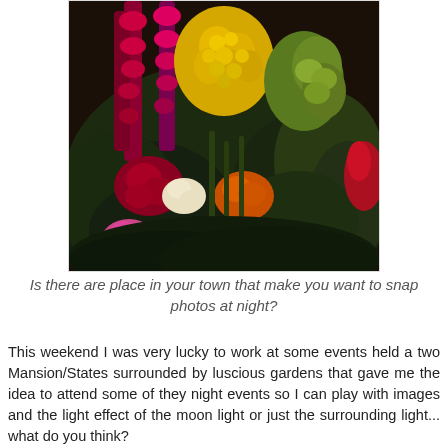[Figure (photo): A close-up night photo of a colorful flower arrangement with pink gladioli, yellow flowers, orange and red roses, and green foliage, taken in dim lighting.]
Is there are place in your town that make you want to snap photos at night?
This weekend I was very lucky to work at some events held a two Mansion/States surrounded by luscious gardens that gave me the idea to attend some of they night events so I can play with images and the light effect of the moon light or just the surrounding light... what do you think?